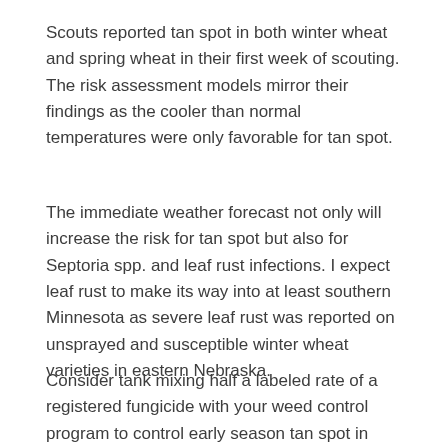Scouts reported tan spot in both winter wheat and spring wheat in their first week of scouting. The risk assessment models mirror their findings as the cooler than normal temperatures were only favorable for tan spot.
The immediate weather forecast not only will increase the risk for tan spot but also for Septoria spp. and leaf rust infections. I expect leaf rust to make its way into at least southern Minnesota as severe leaf rust was reported on unsprayed and susceptible winter wheat varieties in eastern Nebraska.
Consider tank mixing half a labeled rate of a registered fungicide with your weed control program to control early season tan spot in spring wheat when temperatures are found to be favorable.